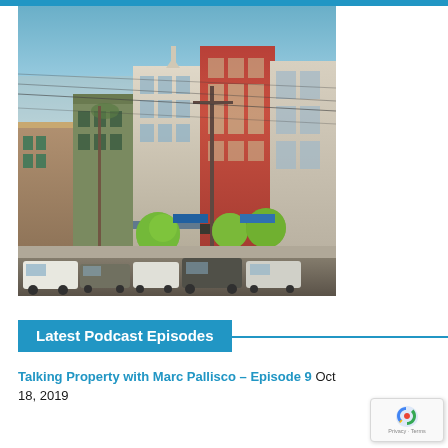[Figure (photo): Street-level photo of a suburban shopping strip with historic-style commercial buildings, power lines overhead, green trimmed trees, and parked cars in the foreground. Clear blue sky visible above the buildings.]
Latest Podcast Episodes
Talking Property with Marc Pallisco – Episode 9 Oct 18, 2019